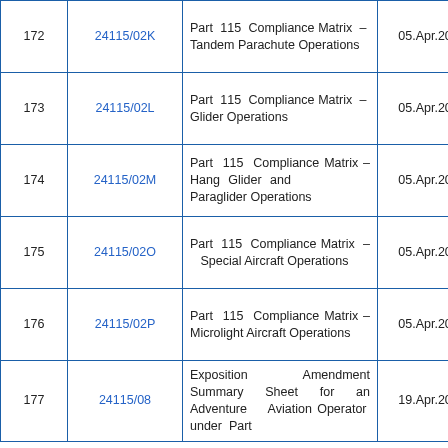|  |  |  |  |
| --- | --- | --- | --- |
| 172 | 24115/02K | Part 115 Compliance Matrix – Tandem Parachute Operations | 05.Apr.2021 |
| 173 | 24115/02L | Part 115 Compliance Matrix – Glider Operations | 05.Apr.2021 |
| 174 | 24115/02M | Part 115 Compliance Matrix – Hang Glider and Paraglider Operations | 05.Apr.2021 |
| 175 | 24115/02O | Part 115 Compliance Matrix – Special Aircraft Operations | 05.Apr.2021 |
| 176 | 24115/02P | Part 115 Compliance Matrix – Microlight Aircraft Operations | 05.Apr.2021 |
| 177 | 24115/08 | Exposition Amendment Summary Sheet for an Adventure Aviation Operator under Part | 19.Apr.2017 |